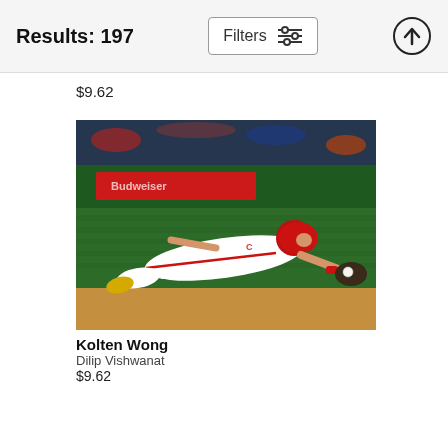Results: 197
$9.62
[Figure (photo): Baseball player Kolten Wong diving to make a catch on a baseball field, wearing a white Cardinals uniform with red accents and gold cleats, glove outstretched catching the ball, photographed at night with crowd in background.]
Kolten Wong
Dilip Vishwanat
$9.62